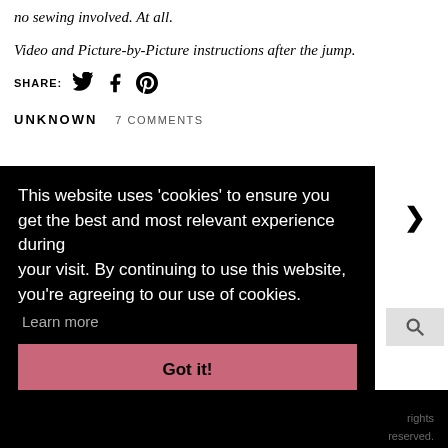no sewing involved. At all.
Video and Picture-by-Picture instructions after the jump.
SHARE:
UNKNOWN   7 COMMENTS
[Figure (infographic): Cookie consent overlay on black background with text: This website uses 'cookies' to ensure you get the best and most relevant experience during your visit. By continuing to use this website, you're agreeing to our use of cookies. Learn more. Got it! button in pink/rose color. Navigation arrow (>) on right side. Search icon box.]
rights reserved.